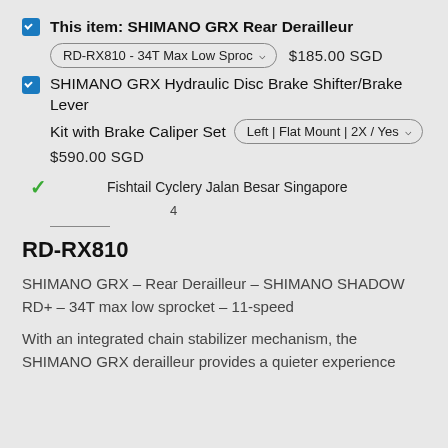This item: SHIMANO GRX Rear Derailleur
RD-RX810 - 34T Max Low Sproc... $185.00 SGD
SHIMANO GRX Hydraulic Disc Brake Shifter/Brake Lever Kit with Brake Caliper Set Left | Flat Mount | 2X / Yes
$590.00 SGD
Fishtail Cyclery Jalan Besar Singapore
4
RD-RX810
SHIMANO GRX – Rear Derailleur – SHIMANO SHADOW RD+ – 34T max low sprocket – 11-speed
With an integrated chain stabilizer mechanism, the SHIMANO GRX derailleur provides a quieter experience